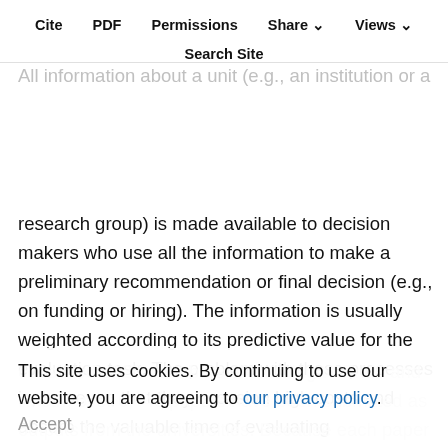Cite  PDF  Permissions  Share  Views  Search Site
review processes that include complete search and processing of information in decision-making. All information about a unit (e.g., an institution or a research group) is made available to decision makers who use all the information to make a preliminary recommendation or final decision (e.g., on funding or hiring). The information is usually weighted according to its predictive value for the evaluation task. The problem with these processes is, however, that they occasion high costs and absorb the valuable time of evaluating researchers, reviewers, and decision makers. For example, the 2014 UK REF panel for physics consisted of 20 members. According to Pride and Knoth, over 6,446 papers have been submitted as outputs from the universities. Because each paper should be read by two reviewers – which increases the
This site uses cookies. By continuing to use our website, you are agreeing to our privacy policy. Accept